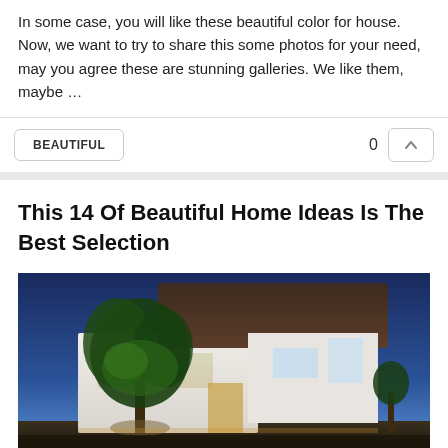In some case, you will like these beautiful color for house. Now, we want to try to share this some photos for your need, may you agree these are stunning galleries. We like them, maybe …
BEAUTIFUL
0
This 14 Of Beautiful Home Ideas Is The Best Selection
[Figure (photo): Modern house exterior at dusk with dark wood paneling, white walls, large windows, and a green tree in front, illuminated by warm lights against a blue sky.]